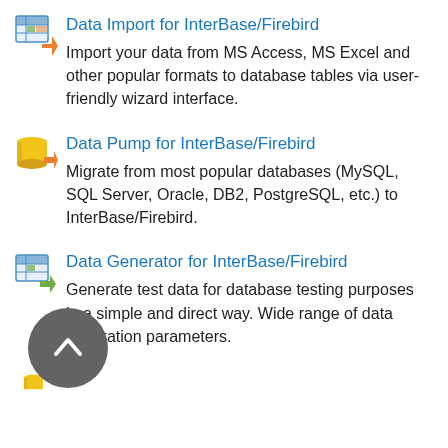Data Import for InterBase/Firebird
Import your data from MS Access, MS Excel and other popular formats to database tables via user-friendly wizard interface.
Data Pump for InterBase/Firebird
Migrate from most popular databases (MySQL, SQL Server, Oracle, DB2, PostgreSQL, etc.) to InterBase/Firebird.
Data Generator for InterBase/Firebird
Generate test data for database testing purposes in a simple and direct way. Wide range of data generation parameters.
[Figure (illustration): Partial fourth list item with icon visible at bottom of page, and a circular dark gray scroll-up navigation button overlaid on the lower left.]